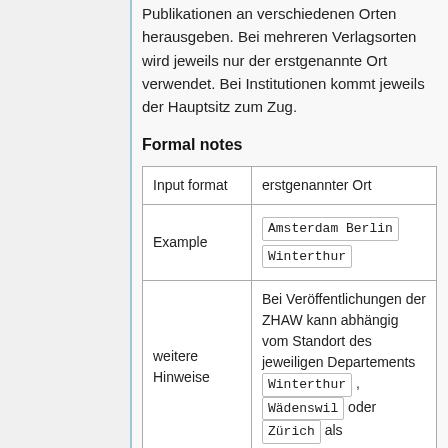Publikationen an verschiedenen Orten herausgeben. Bei mehreren Verlagsorten wird jeweils nur der erstgenannte Ort verwendet. Bei Institutionen kommt jeweils der Hauptsitz zum Zug.
Formal notes
| Input format | erstgenannter Ort |
| --- | --- |
| Example | Amsterdam Berlin
Winterthur |
| weitere Hinweise | Bei Veröffentlichungen der ZHAW kann abhängig vom Standort des jeweiligen Departements Winterthur , Wädenswil oder Zürich als |